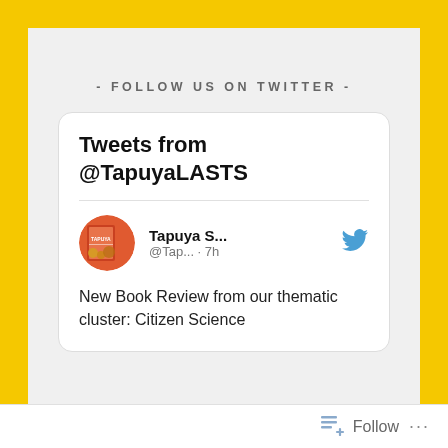- FOLLOW US ON TWITTER -
[Figure (screenshot): Embedded Twitter widget showing tweets from @TapuyaLASTS. Displays tweet header 'Tweets from @TapuyaLASTS', user avatar (orange/red book cover image), username 'Tapuya S...' with handle '@Tap... · 7h', and tweet text 'New Book Review from our thematic cluster: Citizen Science']
Follow ...